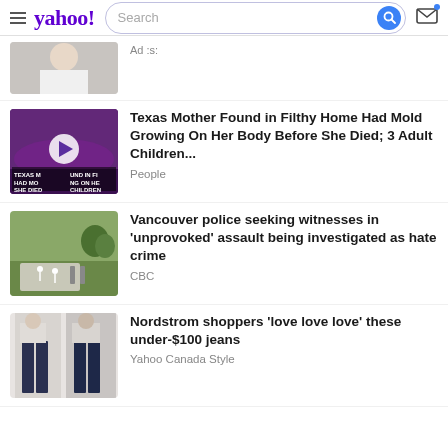yahoo! Search
[Figure (screenshot): Partial ad item with thumbnail of person in white shirt, 'Ad' label]
Ad :s:
[Figure (screenshot): Thumbnail of Texas mother news story with play button overlay]
Texas Mother Found in Filthy Home Had Mold Growing On Her Body Before She Died; 3 Adult Children...
People
[Figure (photo): Aerial/overhead photo of a park or skatepark]
Vancouver police seeking witnesses in 'unprovoked' assault being investigated as hate crime
CBC
[Figure (photo): Two women wearing dark jeans from Nordstrom]
Nordstrom shoppers 'love love love' these under-$100 jeans
Yahoo Canada Style